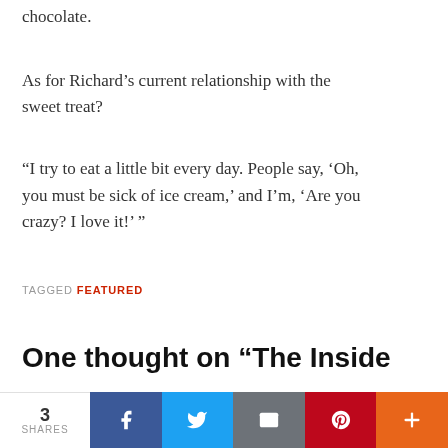chocolate.
As for Richard's current relationship with the sweet treat?
“I try to eat a little bit every day. People say, ‘Oh, you must be sick of ice cream,’ and I’m, ‘Are you crazy? I love it!’ ”
TAGGED FEATURED
One thought on “The Inside